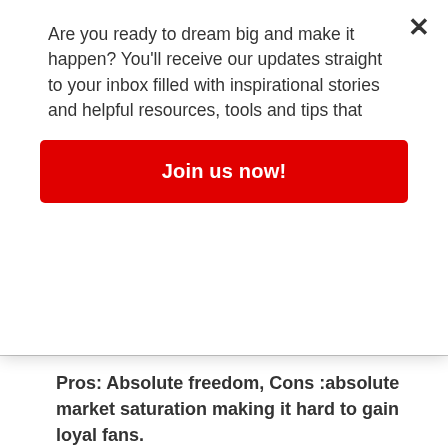Are you ready to dream big and make it happen? You'll receive our updates straight to your inbox filled with inspirational stories and helpful resources, tools and tips that
Join us now!
Pros: Absolute freedom, Cons :absolute market saturation making it hard to gain loyal fans.
[Figure (photo): Woman wearing a brown wide-brim hat and cream outfit with curly hair, posing against a light textured wall background]